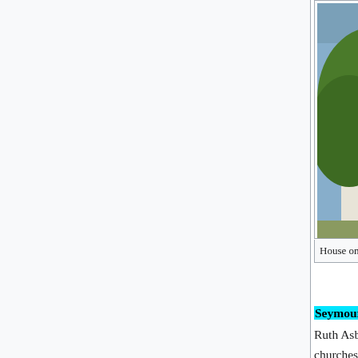[Figure (photo): Photograph of a house on Bonnie Brae Street — a white wooden house with a large dark wooden sign/bulletin board in front, steps visible on the right, and tree foliage on the left. An ADT security sign is visible.]
House on Bonnie Brae Street
Seymour and his small group of new followers soon relocated to the home of Richard and Ruth Asberry at 216 North Bonnie Brae Street.[12] White families from local holiness churches began to attend as well. The group would get together regularly and pray to receive the baptism of the Holy Spirit. On April 9, 1906, after five weeks of Seymour's preaching and prayer, and three days into an intended 10-day fast,[15] Edward S. Lee spoke in tongues for the first time.[17][18] At the next meeting